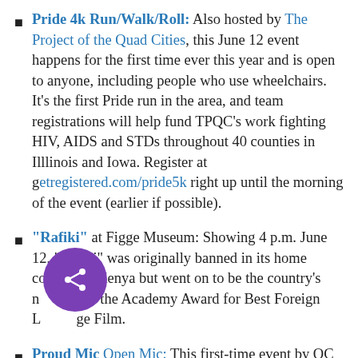Pride 4k Run/Walk/Roll: Also hosted by The Project of the Quad Cities, this June 12 event happens for the first time ever this year and is open to anyone, including people who use wheelchairs. It's the first Pride run in the area, and team registrations will help fund TPQC's work fighting HIV, AIDS and STDs throughout 40 counties in Illlinois and Iowa. Register at getregistered.com/pride5k right up until the morning of the event (earlier if possible).
"Rafiki" at Figge Museum: Showing 4 p.m. June 12, "Rafiki" was originally banned in its home country of Kenya but went on to be the country's nominee for the Academy Award for Best Foreign Language Film.
Proud Mic Open Mic: This first-time event by QC